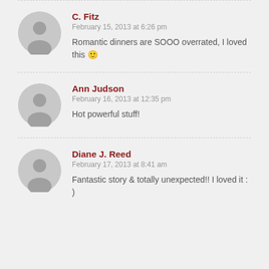C. Fitz
February 15, 2013 at 6:26 pm
Romantic dinners are SOOO overrated, I loved this 🙂
Ann Judson
February 16, 2013 at 12:35 pm
Hot powerful stuff!
Diane J. Reed
February 17, 2013 at 8:41 am
Fantastic story & totally unexpected!! I loved it : )